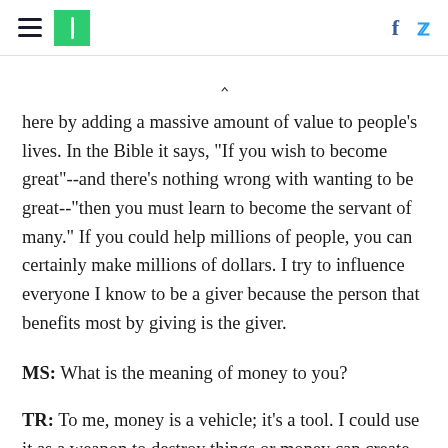[Huffington Post header with hamburger menu, green logo, Facebook and Twitter icons]
here by adding a massive amount of value to people's lives. In the Bible it says, "If you wish to become great"--and there's nothing wrong with wanting to be great--"then you must learn to become the servant of many." If you could help millions of people, you can certainly make millions of dollars. I try to influence everyone I know to be a giver because the person that benefits most by giving is the giver.
MS: What is the meaning of money to you?
TR: To me, money is a vehicle; it's a tool. I could use it as a weapon to destroy things or money can create